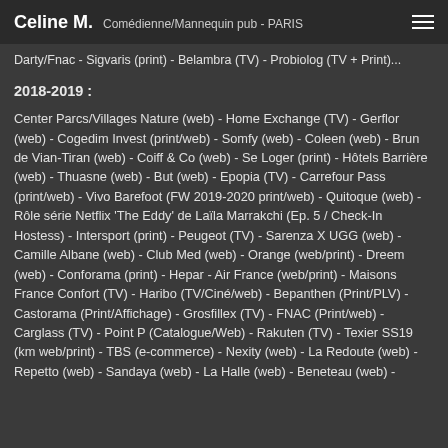Celine M. Comédienne/Mannequin pub - PARIS
Darty/Fnac - Sigvaris (print) - Belambra (TV) - Probiolog (TV + Print)...
2018-2019 :
Center Parcs/Villages Nature (web) - Home Exchange (TV) - Gerflor (web) - Cogedim Invest (print/web) - Somfy (web) - Coleen (web) - Brun de Vian-Tiran (web) - Coiff & Co (web) - Se Loger (print) - Hôtels Barrière (web) - Thuasne (web) - But (web) - Epopia (TV) - Carrefour Pass (print/web) - Vivo Barefoot (FW 2019-2020 print/web) - Quitoque (web) - Rôle série Netflix 'The Eddy' de Laïla Marrakchi (Ep. 5 / Check-In Hostess) - Intersport (print) - Peugeot (TV) - Sarenza X UGG (web) - Camille Albane (web) - Club Med (web) - Orange (web/print) - Dreem (web) - Conforama (print) - Hepar - Air France (web/print) - Maisons France Confort (TV) - Haribo (TV/Ciné/web) - Bepanthen (Print/PLV) - Castorama (Print/Affichage) - Grosfillex (TV) - FNAC (Print/web) - Carglass (TV) - Point P (Catalogue/Web) - Rakuten (TV) - Texier SS19 (km web/print) - TBS (e-commerce) - Nexity (web) - La Redoute (web) - Repetto (web) - Sandaya (web) - La Halle (web) - Beneteau (web) -